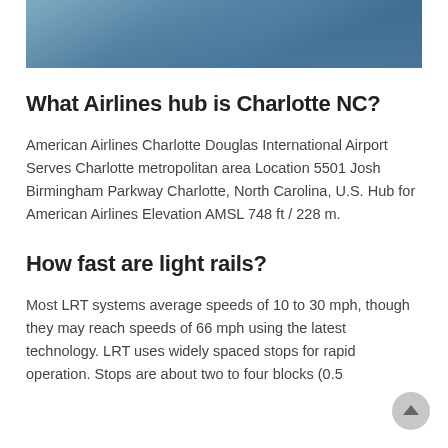[Figure (photo): Aerial or sky photograph with blue tones, partially cropped at top of page]
What Airlines hub is Charlotte NC?
American Airlines Charlotte Douglas International Airport Serves Charlotte metropolitan area Location 5501 Josh Birmingham Parkway Charlotte, North Carolina, U.S. Hub for American Airlines Elevation AMSL 748 ft / 228 m.
How fast are light rails?
Most LRT systems average speeds of 10 to 30 mph, though they may reach speeds of 66 mph using the latest technology. LRT uses widely spaced stops for rapid operation. Stops are about two to four blocks (0.5